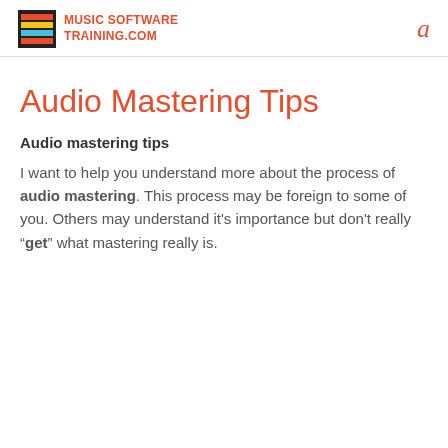MUSIC SOFTWARE TRAINING.COM  a
Audio Mastering Tips
Audio mastering tips
I want to help you understand more about the process of audio mastering. This process may be foreign to some of you. Others may understand it's importance but don't really “get” what mastering really is.